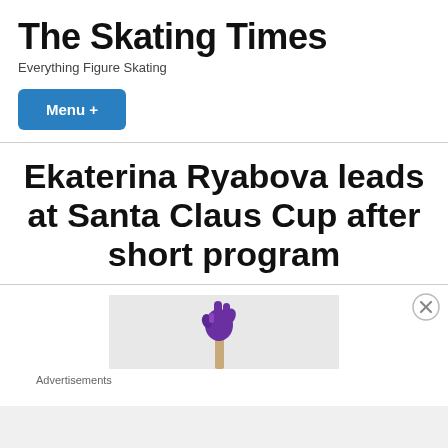The Skating Times
Everything Figure Skating
Menu +
Ekaterina Ryabova leads at Santa Claus Cup after short program
[Figure (illustration): An advertisement banner showing a hand wearing a purple glove/mitt raised up, on a light grey background]
Advertisements